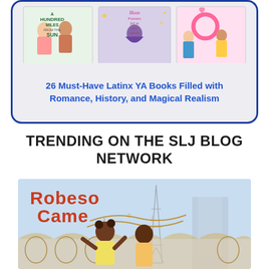[Figure (illustration): Three book covers for Latinx YA books shown side by side: 'A Hundred Miles from the Sun', 'Moon and the Fuentes fell in Love with the Universe', and a third romance novel with two teens]
26 Must-Have Latinx YA Books Filled with Romance, History, and Magical Realism
TRENDING ON THE SLJ BLOG NETWORK
[Figure (illustration): Book cover illustration showing 'Robeson Came' with two Black children and the Eiffel Tower in Paris in the background, with musical notes]